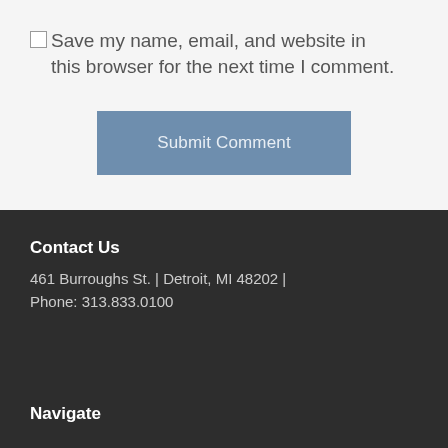Save my name, email, and website in this browser for the next time I comment.
Submit Comment
Contact Us
461 Burroughs St. | Detroit, MI 48202 | Phone: 313.833.0100
Navigate